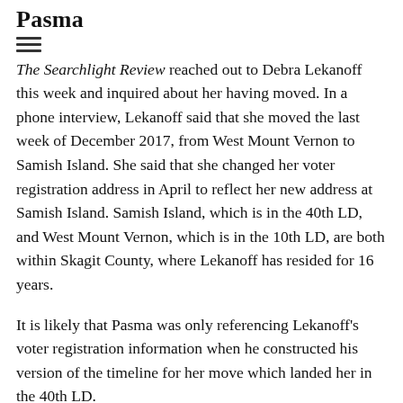Pasma
The Searchlight Review reached out to Debra Lekanoff this week and inquired about her having moved. In a phone interview, Lekanoff said that she moved the last week of December 2017, from West Mount Vernon to Samish Island. She said that she changed her voter registration address in April to reflect her new address at Samish Island. Samish Island, which is in the 40th LD, and West Mount Vernon, which is in the 10th LD, are both within Skagit County, where Lekanoff has resided for 16 years.
It is likely that Pasma was only referencing Lekanoff's voter registration information when he constructed his version of the timeline for her move which landed her in the 40th LD.
Not only is Pasma inaccurate when he has repeatedly claimed that Lekanoff moved into the 40th LD only